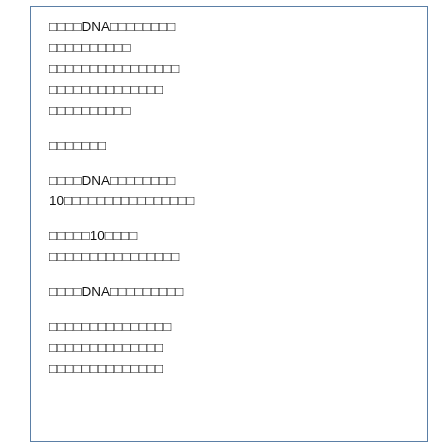□□□□DNA□□□□□□□□□□□□□□□□□□□□□□□□□□□□□□□□□□□□□□□□□□□□□
□□□□□□□
□□□□DNA□□□□□□□□10□□□□□□□□□□□□□□□
□□□□□10□□□□□□□□□□□□□□□□□□□□□□□
□□□□DNA□□□□□□□□□
□□□□□□□□□□□□□□□□□□□□□□□□□□□□□□□□□□□□□□□□□